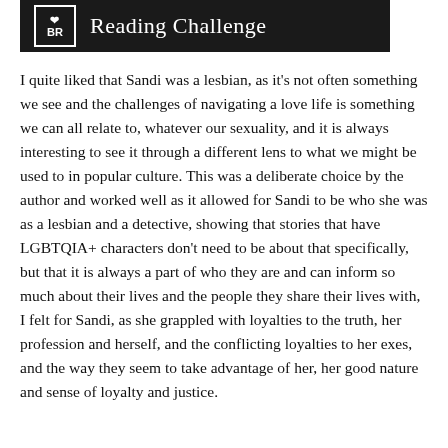[Figure (logo): Black banner with a small logo box containing 'BBR' text and hearts, followed by the text 'Reading Challenge' in white serif font on black background]
I quite liked that Sandi was a lesbian, as it's not often something we see and the challenges of navigating a love life is something we can all relate to, whatever our sexuality, and it is always interesting to see it through a different lens to what we might be used to in popular culture. This was a deliberate choice by the author and worked well as it allowed for Sandi to be who she was as a lesbian and a detective, showing that stories that have LGBTQIA+ characters don't need to be about that specifically, but that it is always a part of who they are and can inform so much about their lives and the people they share their lives with, I felt for Sandi, as she grappled with loyalties to the truth, her profession and herself, and the conflicting loyalties to her exes, and the way they seem to take advantage of her, her good nature and sense of loyalty and justice.